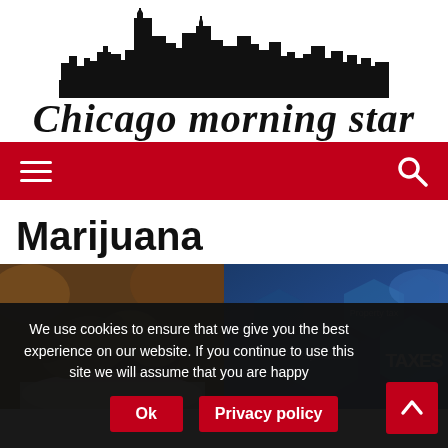[Figure (logo): Chicago morning star newspaper logo with city skyline silhouette above blackletter text]
Navigation bar with hamburger menu and search icon on red background
Marijuana
[Figure (photo): Close-up photo of marijuana buds on a white surface]
[Figure (photo): Blue hexagonal graphic with text 'Property tax', 'Corporate tax', 'TAXES']
We use cookies to ensure that we give you the best experience on our website. If you continue to use this site we will assume that you are happy
Ok
Privacy policy